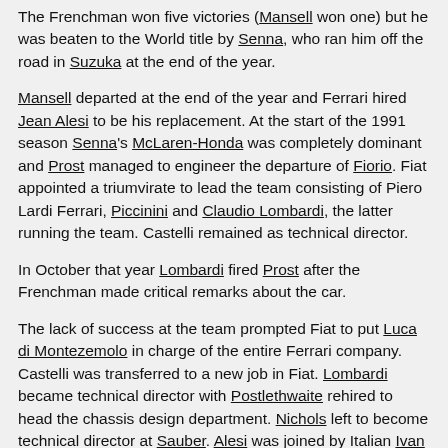The Frenchman won five victories (Mansell won one) but he was beaten to the World title by Senna, who ran him off the road in Suzuka at the end of the year.
Mansell departed at the end of the year and Ferrari hired Jean Alesi to be his replacement. At the start of the 1991 season Senna's McLaren-Honda was completely dominant and Prost managed to engineer the departure of Fiorio. Fiat appointed a triumvirate to lead the team consisting of Piero Lardi Ferrari, Piccinini and Claudio Lombardi, the latter running the team. Castelli remained as technical director.
In October that year Lombardi fired Prost after the Frenchman made critical remarks about the car.
The lack of success at the team prompted Fiat to put Luca di Montezemolo in charge of the entire Ferrari company. Castelli was transferred to a new job in Fiat. Lombardi became technical director with Postlethwaite rehired to head the chassis design department. Nichols left to become technical director at Sauber. Alesi was joined by Italian Ivan Capelli but he failed to impress and was himself replaced at the end of the year by Nicola Larini. In August 1992 after another season without wins Ferrari rehired Barnard and as a British